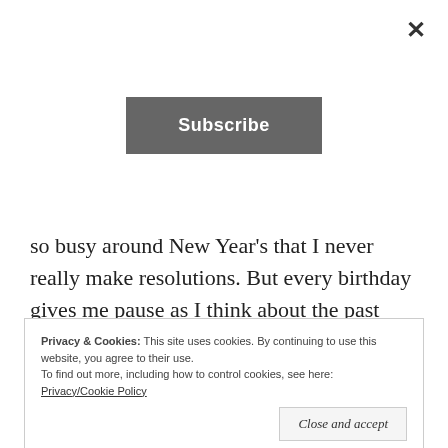[Figure (other): Subscribe button overlay with close X button]
so busy around New Year's that I never really make resolutions. But every birthday gives me pause as I think about the past year–its joys and sorrows and challenges and triumphs–and look forward to the year ahead.
Privacy & Cookies: This site uses cookies. By continuing to use this website, you agree to their use.
To find out more, including how to control cookies, see here: Privacy/Cookie Policy
Close and accept
How to…